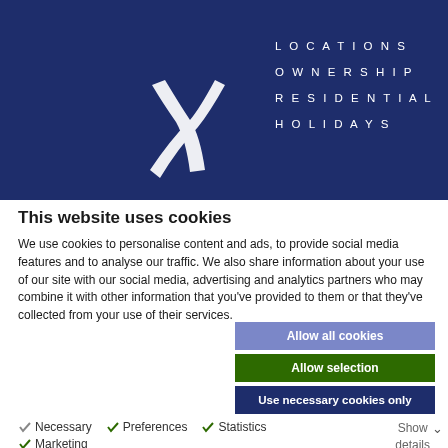[Figure (logo): Abstract X-shaped logo mark in white on dark navy background with navigation menu items: LOCATIONS, OWNERSHIP, RESIDENTIAL, HOLIDAYS]
LOCATIONS  OWNERSHIP  RESIDENTIAL  HOLIDAYS
This website uses cookies
We use cookies to personalise content and ads, to provide social media features and to analyse our traffic. We also share information about your use of our site with our social media, advertising and analytics partners who may combine it with other information that you've provided to them or that they've collected from your use of their services.
Allow all cookies
Allow selection
Use necessary cookies only
Necessary
Preferences
Statistics
Marketing
Show details